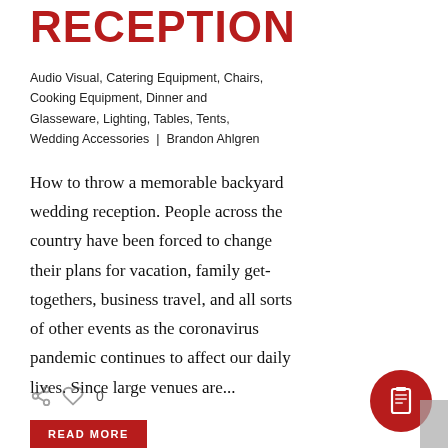RECEPTION
Audio Visual, Catering Equipment, Chairs, Cooking Equipment, Dinner and Glasseware, Lighting, Tables, Tents, Wedding Accessories | Brandon Ahlgren
How to throw a memorable backyard wedding reception. People across the country have been forced to change their plans for vacation, family get-togethers, business travel, and all sorts of other events as the coronavirus pandemic continues to affect our daily lives. Since large venues are...
0
READ MORE